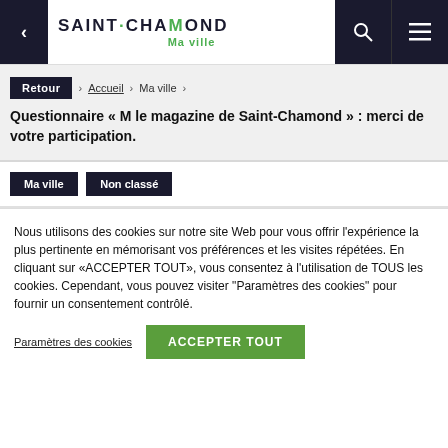SAINT·CHAMOND Ma ville
Retour > Accueil > Ma ville >
Questionnaire « M le magazine de Saint-Chamond » : merci de votre participation.
Ma ville   Non classé
Nous utilisons des cookies sur notre site Web pour vous offrir l'expérience la plus pertinente en mémorisant vos préférences et les visites répétées. En cliquant sur «ACCEPTER TOUT», vous consentez à l'utilisation de TOUS les cookies. Cependant, vous pouvez visiter "Paramètres des cookies" pour fournir un consentement contrôlé.
Paramètres des cookies   ACCEPTER TOUT